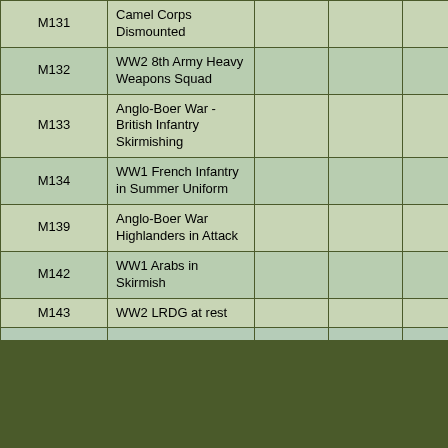|  |  |  |  |  |  |
| --- | --- | --- | --- | --- | --- |
| M131 | Camel Corps Dismounted |  |  |  |  |
| M132 | WW2 8th Army Heavy Weapons Squad |  |  |  |  |
| M133 | Anglo-Boer War - British Infantry Skirmishing |  |  |  |  |
| M134 | WW1 French Infantry in Summer Uniform |  |  |  |  |
| M139 | Anglo-Boer War Highlanders in Attack |  |  |  |  |
| M142 | WW1 Arabs in Skirmish |  |  |  |  |
| M143 | WW2 LRDG at rest |  |  |  |  |
|  |  |  |  |  |  |